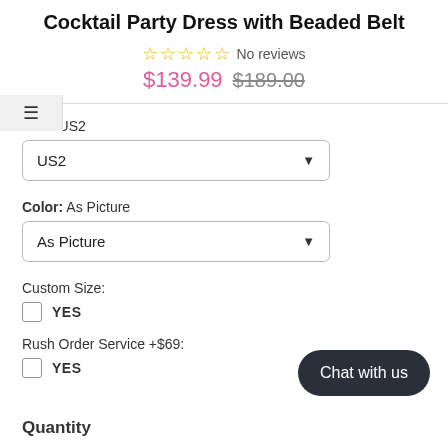Cocktail Party Dress with Beaded Belt
No reviews
$139.99  $189.00
Size:  US2
US2
Color:  As Picture
As Picture
Custom Size:
YES
Rush Order Service +$69:
YES
Chat with us
Quantity